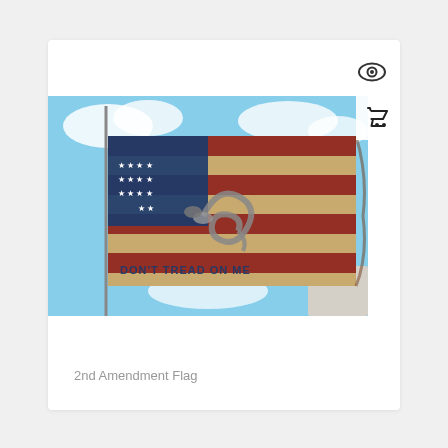[Figure (photo): Product card showing a 2nd Amendment Flag — a Betsy Ross style American flag combined with the Gadsden 'Don't Tread On Me' snake design, photographed flying on a pole against a blue sky with clouds. Overlaid with an eye icon (quick view) and a shopping cart icon.]
2nd Amendment Flag